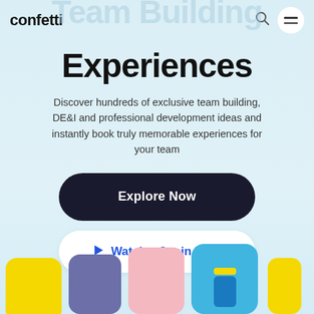confetti
Team Building Experiences
Discover hundreds of exclusive team building, DE&I and professional development ideas and instantly book truly memorable experiences for your team
Explore Now
Watch a 2-min Intro
[Figure (illustration): Row of colorful rounded cards at the bottom: yellow, purple, pink, blue (with cylinder), and yellow partial card]